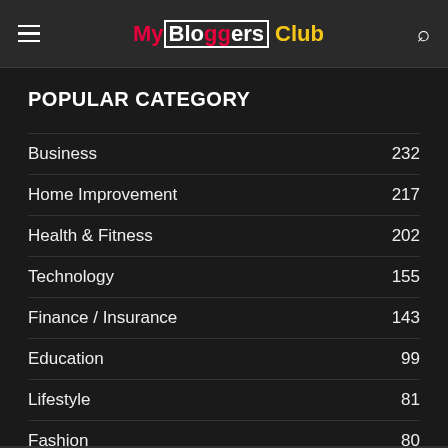MyBloggersClub
POPULAR CATEGORY
Business 232
Home Improvement 217
Health & Fitness 202
Technology 155
Finance / Insurance 143
Education 99
Lifestyle 81
Fashion 80
Law 63